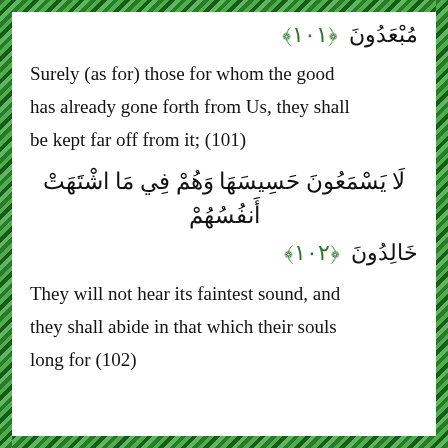مُبْعَدُونَ ﴿١٠١﴾
Surely (as for) those for whom the good has already gone forth from Us, they shall be kept far off from it; (101)
لَا يَسْمَعُونَ حَسِيسَهَا وَهُمْ فِي مَا اشْتَهَتْ أَنْفُسُهُمْ خَالِدُونَ ﴿١٠٢﴾
They will not hear its faintest sound, and they shall abide in that which their souls long for (102)